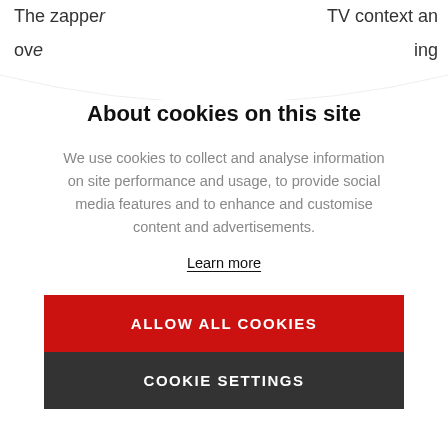The zapper
TV context an
ov
ing
About cookies on this site
We use cookies to collect and analyse information on site performance and usage, to provide social media features and to enhance and customise content and advertisements.
Learn more
ALLOW ALL COOKIES
COOKIE SETTINGS